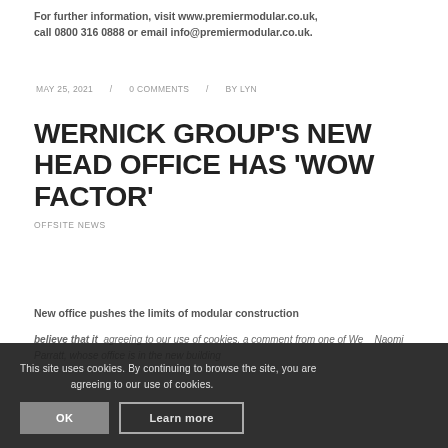For further information, visit www.premiermodular.co.uk, call 0800 316 0888 or email info@premiermodular.co.uk.
MAY 25, 2021 / 0 COMMENTS / BY LYN
WERNICK GROUP'S NEW HEAD OFFICE HAS 'WOW FACTOR'
OFFSITE NEWS
New office pushes the limits of modular construction
believe that it…a comment from one of Wernick…Naomi Parratt, whose office is in the new building…
This site uses cookies. By continuing to browse the site, you are agreeing to our use of cookies.